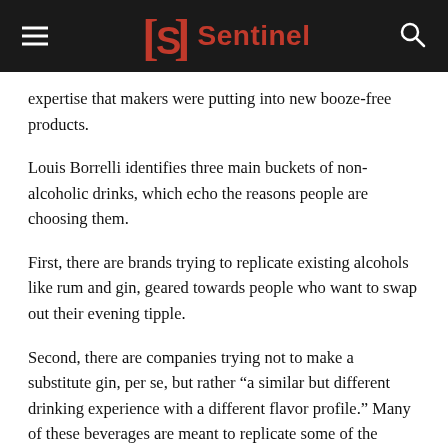Sentinel
expertise that makers were putting into new booze-free products.
Louis Borrelli identifies three main buckets of non-alcoholic drinks, which echo the reasons people are choosing them.
First, there are brands trying to replicate existing alcohols like rum and gin, geared towards people who want to swap out their evening tipple.
Second, there are companies trying not to make a substitute gin, per se, but rather “a similar but different drinking experience with a different flavor profile.” Many of these beverages are meant to replicate some of the characteristics found in alcoholic beverages.
Third, there are drinks which are “all their own thing, and often